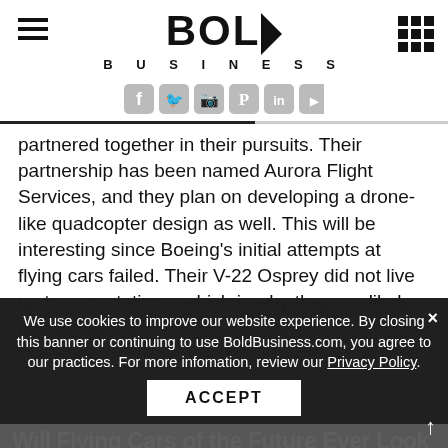BOLD BUSINESS
partnered together in their pursuits. Their partnership has been named Aurora Flight Services, and they plan on developing a drone-like quadcopter design as well. This will be interesting since Boeing’s initial attempts at flying cars failed. Their V-22 Osprey did not live up to expectations, which is why they are likely partnering with Porsche.
We use cookies to improve our website experience. By closing this banner or continuing to use BoldBusiness.com, you agree to our practices. For more infomation, review our Privacy Policy.
ACCEPT
Will Flying Cars of the Future Ever Look Like the Jetsons?
Readership Survey